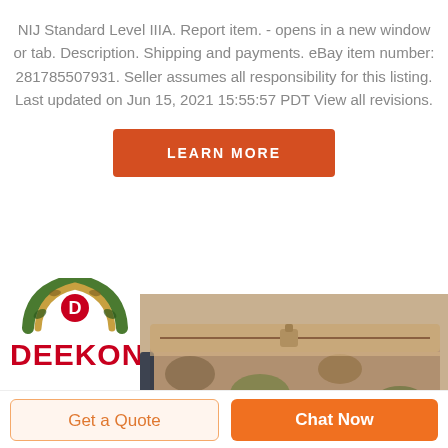NIJ Standard Level IIIA. Report item. - opens in a new window or tab. Description. Shipping and payments. eBay item number: 281785507931. Seller assumes all responsibility for this listing. Last updated on Jun 15, 2021 15:55:57 PDT View all revisions.
[Figure (other): LEARN MORE button - orange/red rectangular button with white uppercase text]
[Figure (logo): DEEKON brand logo with camouflage pattern arc graphic above red bold text DEEKON]
[Figure (photo): Product photo of a tan/camouflage tactical bag or pouch, viewed from the top, showing zipper and multicam fabric]
Get a Quote
Chat Now